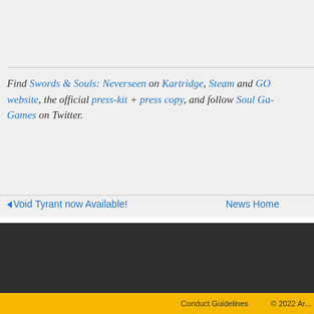[Figure (screenshot): Game screenshot strip showing UI elements including health bar, inventory icons, and HUD elements from Swords & Souls: Neverseen]
Find Swords & Souls: Neverseen on Kartridge, Steam and GO website, the official press-kit + press copy, and follow Soul Games on Twitter.
◄ Void Tyrant now Available!    News Home    Sw...
[Figure (logo): Armor Games logo — shield icon with crown and sword above text ARMOR GAMES]
DEV PORT   SUPPORT   PUBLISH
Conduct Guidelines   © 2022 Ar...